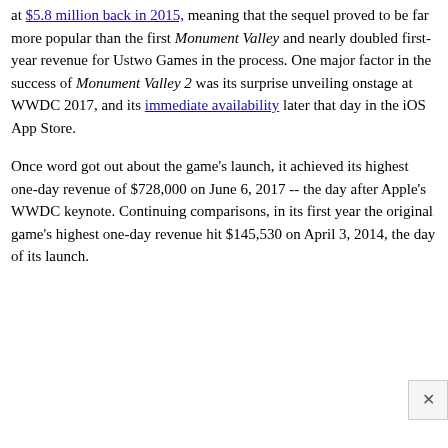at $5.8 million back in 2015, meaning that the sequel proved to be far more popular than the first Monument Valley and nearly doubled first-year revenue for Ustwo Games in the process. One major factor in the success of Monument Valley 2 was its surprise unveiling onstage at WWDC 2017, and its immediate availability later that day in the iOS App Store.
Once word got out about the game's launch, it achieved its highest one-day revenue of $728,000 on June 6, 2017 -- the day after Apple's WWDC keynote. Continuing comparisons, in its first year the original game's highest one-day revenue hit $145,530 on April 3, 2014, the day of its launch.